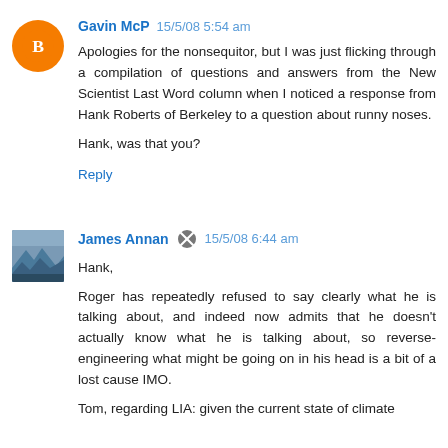Gavin McP  15/5/08 5:54 am
Apologies for the nonsequitor, but I was just flicking through a compilation of questions and answers from the New Scientist Last Word column when I noticed a response from Hank Roberts of Berkeley to a question about runny noses.
Hank, was that you?
Reply
James Annan  15/5/08 6:44 am
Hank,
Roger has repeatedly refused to say clearly what he is talking about, and indeed now admits that he doesn't actually know what he is talking about, so reverse-engineering what might be going on in his head is a bit of a lost cause IMO.
Tom, regarding LIA: given the current state of climate